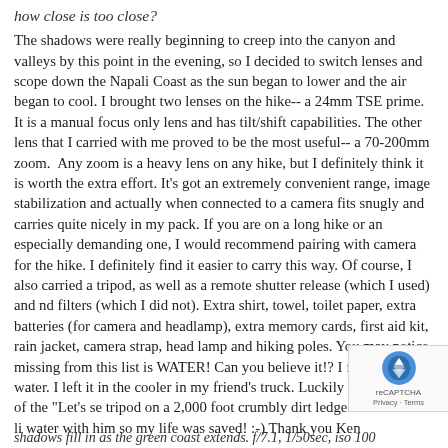how close is too close?
The shadows were really beginning to creep into the canyon and valleys by this point in the evening, so I decided to switch lenses and scope down the Napali Coast as the sun began to lower and the air began to cool. I brought two lenses on the hike-- a 24mm TSE prime. It is a manual focus only lens and has tilt/shift capabilities. The other lens that I carried with me proved to be the most useful-- a 70-200mm zoom.  Any zoom is a heavy lens on any hike, but I definitely think it is worth the extra effort. It's got an extremely convenient range, image stabilization and actually when connected to a camera fits snugly and carries quite nicely in my pack. If you are on a long hike or an especially demanding one, I would recommend pairing with camera for the hike. I definitely find it easier to carry this way. Of course, I also carried a tripod, as well as a remote shutter release (which I used) and nd filters (which I did not). Extra shirt, towel, toilet paper, extra batteries (for camera and headlamp), extra memory cards, first aid kit, rain jacket, camera strap, head lamp and hiking poles. You may notice, missing from this list is WATER! Can you believe it!? I forgot my water. I left it in the cooler in my friend's truck. Luckily my friend-- he of the "Let's se tripod on a 2,000 foot crumbly dirt ledge!"-- had three li water with him so my life was saved! :-) Thank you Ken
shadows fill in as the green coast extends. f/7.1, 1/50sec, iso 100